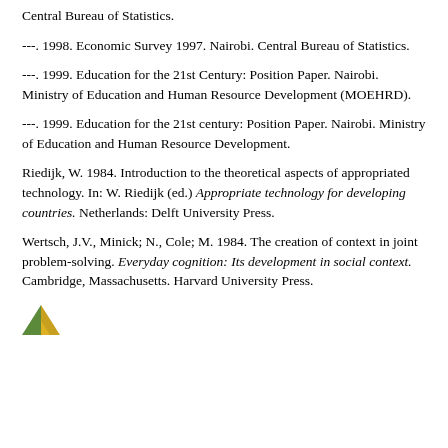Central Bureau of Statistics.
---. 1998. Economic Survey 1997. Nairobi. Central Bureau of Statistics.
---. 1999. Education for the 21st Century: Position Paper. Nairobi. Ministry of Education and Human Resource Development (MOEHRD).
---. 1999. Education for the 21st century: Position Paper. Nairobi. Ministry of Education and Human Resource Development.
Riedijk, W. 1984. Introduction to the theoretical aspects of appropriated technology. In: W. Riedijk (ed.) Appropriate technology for developing countries. Netherlands: Delft University Press.
Wertsch, J.V., Minick; N., Cole; M. 1984. The creation of context in joint problem-solving. Everyday cognition: Its development in social context. Cambridge, Massachusetts. Harvard University Press.
[Figure (logo): Small triangular logo in green and yellow/orange colors at the bottom of the page.]